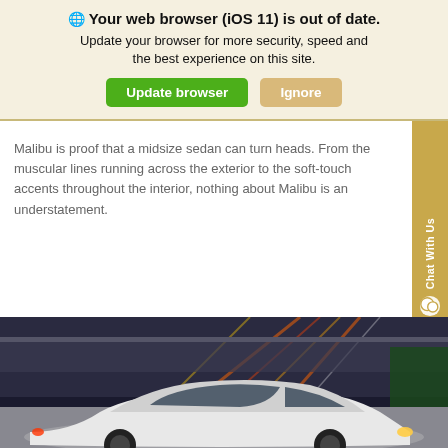Your web browser (iOS 11) is out of date.
Update your browser for more security, speed and the best experience on this site.
Update browser | Ignore
Malibu is proof that a midsize sedan can turn heads. From the muscular lines running across the exterior to the soft-touch accents throughout the interior, nothing about Malibu is an understatement.
[Figure (photo): White Chevrolet Malibu sedan on a highway at night with blurred traffic lights in the background]
Accessibility | Search | Saved | Contact